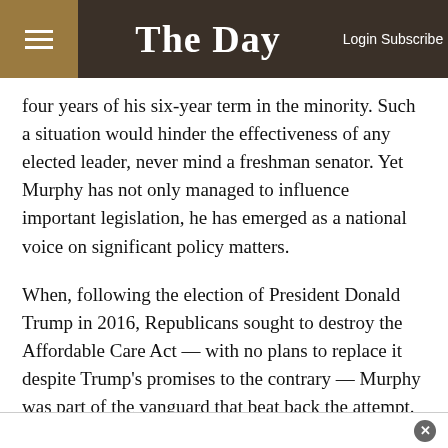The Day — Login Subscribe
four years of his six-year term in the minority. Such a situation would hinder the effectiveness of any elected leader, never mind a freshman senator. Yet Murphy has not only managed to influence important legislation, he has emerged as a national voice on significant policy matters.
When, following the election of President Donald Trump in 2016, Republicans sought to destroy the Affordable Care Act — with no plans to replace it despite Trump's promises to the contrary — Murphy was part of the vanguard that beat back the attempt. In the process he defended protection for people with pre-existing conditions and